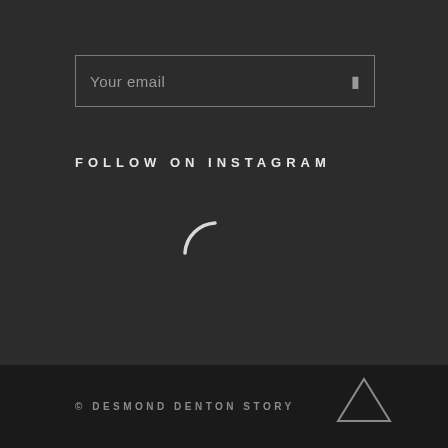[Figure (screenshot): Email input field with placeholder text 'Your email' and a small icon on the right, outlined with a thin border on dark background]
FOLLOW ON INSTAGRAM
[Figure (infographic): Loading spinner arc, white partial circle on dark background]
© DESMOND DENTON STORY